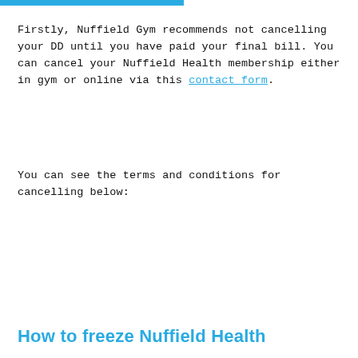Firstly, Nuffield Gym recommends not cancelling your DD until you have paid your final bill. You can cancel your Nuffield Health membership either in gym or online via this contact form.
You can see the terms and conditions for cancelling below:
How to freeze Nuffield Health